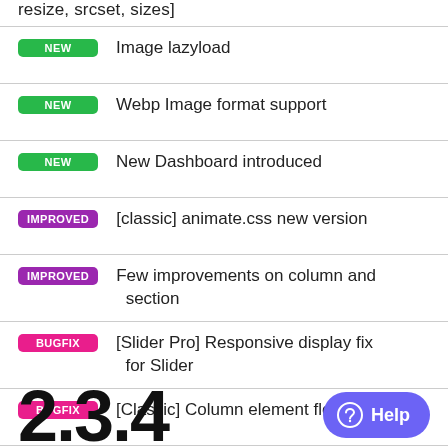resize, srcset, sizes]
NEW   Image lazyload
NEW   Webp Image format support
NEW   New Dashboard introduced
IMPROVED   [classic] animate.css new version
IMPROVED   Few improvements on column and section
BUGFIX   [Slider Pro] Responsive display fix for Slider
BUGFIX   [Classic] Column element flow fix
2.3.4
Help